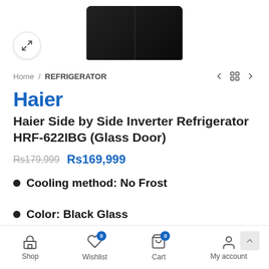[Figure (photo): Haier side-by-side refrigerator product image with black glass doors, partially visible at top of page]
Home / REFRIGERATOR
Haier
Haier Side by Side Inverter Refrigerator HRF-622IBG (Glass Door)
Rs179,999 Rs169,999
Cooling method: No Frost
Color: Black Glass
Shop  Wishlist 0  Cart 0  My account